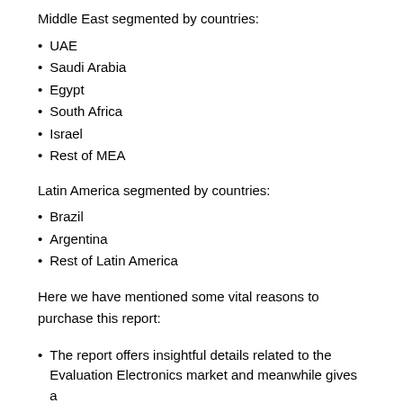Middle East segmented by countries:
UAE
Saudi Arabia
Egypt
South Africa
Israel
Rest of MEA
Latin America segmented by countries:
Brazil
Argentina
Rest of Latin America
Here we have mentioned some vital reasons to purchase this report:
The report offers insightful details related to the Evaluation Electronics market and meanwhile gives a